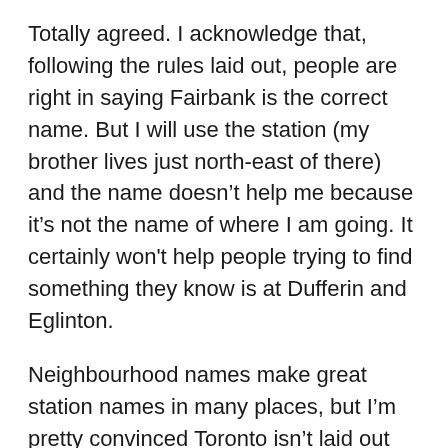Totally agreed. I acknowledge that, following the rules laid out, people are right in saying Fairbank is the correct name. But I will use the station (my brother lives just north-east of there) and the name doesn’t help me because it’s not the name of where I am going. It certainly won't help people trying to find something they know is at Dufferin and Eglinton.
Neighbourhood names make great station names in many places, but I’m pretty convinced Toronto isn’t laid out right for them. In Melbourne, the Metro Trains system normally uses neighbourhoods, and it works great, because the train drops you in the middle of a shopping area built up around the station. In Toronto, right positioning has more effect...